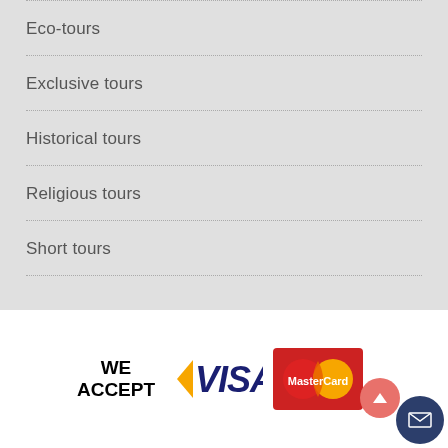Eco-tours
Exclusive tours
Historical tours
Religious tours
Short tours
[Figure (logo): We Accept payment logos: VISA and MasterCard, with scroll-to-top and mail contact buttons]